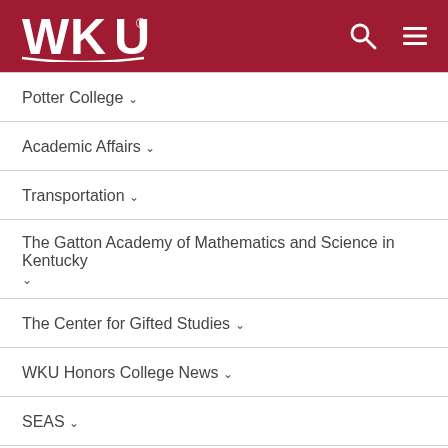WKU
Potter College
Academic Affairs
Transportation
The Gatton Academy of Mathematics and Science in Kentucky
The Center for Gifted Studies
WKU Honors College News
SEAS
Center for Applied Science in Health and Aging News
Center for Innovative Teaching & Learning